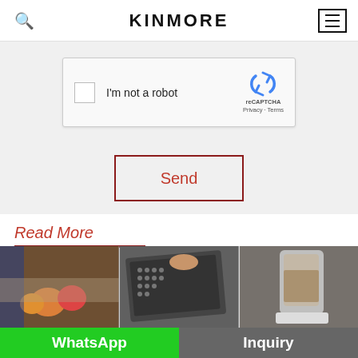KINMORE
[Figure (screenshot): reCAPTCHA widget with checkbox labeled I'm not a robot]
Send
Read More
[Figure (photo): Three kitchen/food related photos side by side: fruits on counter, grater being used, blender]
WhatsApp
Inquiry